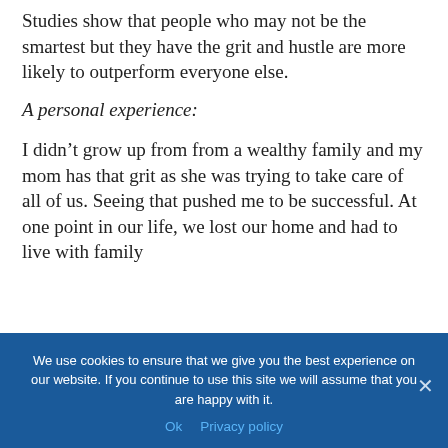Studies show that people who may not be the smartest but they have the grit and hustle are more likely to outperform everyone else.
A personal experience:
I didn’t grow up from from a wealthy family and my mom has that grit as she was trying to take care of all of us. Seeing that pushed me to be successful. At one point in our life, we lost our home and had to live with family
We use cookies to ensure that we give you the best experience on our website. If you continue to use this site we will assume that you are happy with it.
Ok   Privacy policy